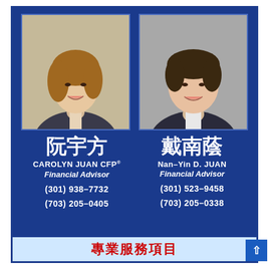[Figure (photo): Professional headshot of Carolyn Juan, a woman in a dark business suit with light blouse, smiling, light background]
[Figure (photo): Professional headshot of Nan-Yin D. Juan, an older woman in a dark business suit with white striped blouse, smiling, gray background]
阮宇方
CAROLYN JUAN CFP®
Financial Advisor
(301) 938-7732
(703) 205-0405
戴南蔭
Nan-Yin D. JUAN
Financial Advisor
(301) 523-9458
(703) 205-0338
專業服務項目